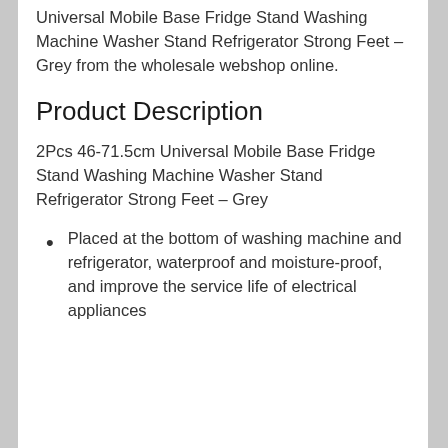Universal Mobile Base Fridge Stand Washing Machine Washer Stand Refrigerator Strong Feet – Grey from the wholesale webshop online.
Product Description
2Pcs 46-71.5cm Universal Mobile Base Fridge Stand Washing Machine Washer Stand Refrigerator Strong Feet – Grey
Placed at the bottom of washing machine and refrigerator, waterproof and moisture-proof, and improve the service life of electrical appliances